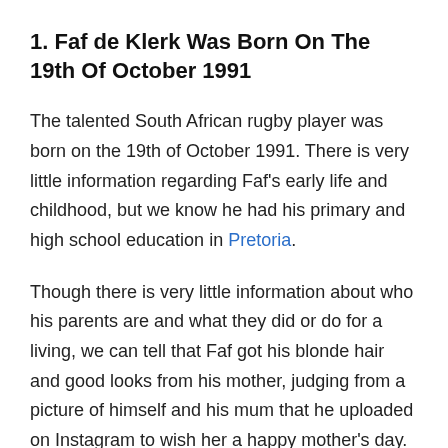1. Faf de Klerk Was Born On The 19th Of October 1991
The talented South African rugby player was born on the 19th of October 1991. There is very little information regarding Faf's early life and childhood, but we know he had his primary and high school education in Pretoria.
Though there is very little information about who his parents are and what they did or do for a living, we can tell that Faf got his blonde hair and good looks from his mother, judging from a picture of himself and his mum that he uploaded on Instagram to wish her a happy mother's day.